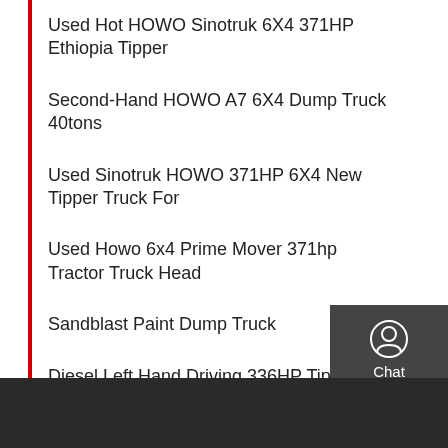Used Hot HOWO Sinotruk 6X4 371HP Ethiopia Tipper
Second-Hand HOWO A7 6X4 Dump Truck 40tons
Used Sinotruk HOWO 371HP 6X4 New Tipper Truck For
Used Howo 6x4 Prime Mover 371hp Tractor Truck Head
Sandblast Paint Dump Truck
Diesel Left Hand Driving 336HP Tipper Dump Truck
Used Medium Duty Dump Trucks For Sale Commercial